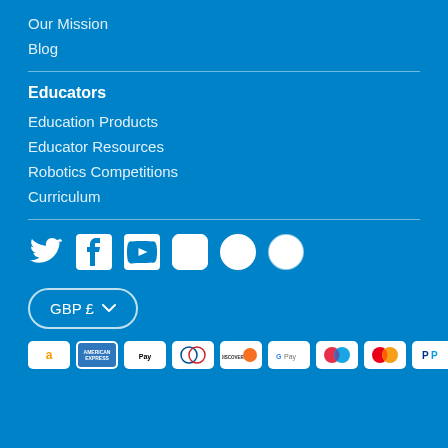Our Mission
Blog
Educators
Education Products
Educator Resources
Robotics Competitions
Curriculum
[Figure (illustration): Social media icons: Twitter, Facebook, YouTube, Instagram, Pinterest, LinkedIn]
GBP £
[Figure (illustration): Payment method icons: Amazon, American Express, Apple Pay, Diners Club, Discover, Google Pay, Maestro, Mastercard, PayPal]